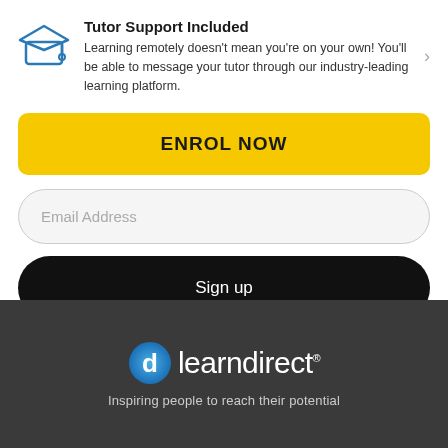Tutor Support Included
Learning remotely doesn't mean you're on your own! You'll be able to message your tutor through our industry-leading learning platform.
ENROL NOW
Email Address
Sign up
[Figure (logo): learndirect logo — circular blue 'd' icon followed by the text 'learndirect' in white on dark background]
Inspiring people to reach their potential